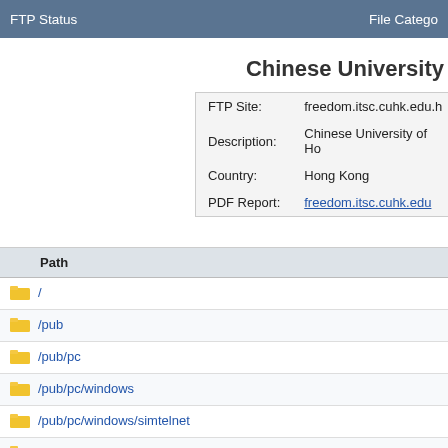FTP Status | File Category
Chinese University
| Field | Value |
| --- | --- |
| FTP Site: | freedom.itsc.cuhk.edu.h… |
| Description: | Chinese University of Ho… |
| Country: | Hong Kong |
| PDF Report: | freedom.itsc.cuhk.edu… |
| Path |
| --- |
| / |
| /pub |
| /pub/pc |
| /pub/pc/windows |
| /pub/pc/windows/simtelnet |
| /pub/packages |
| /pub/pc/windows/simtelnet/win95 |